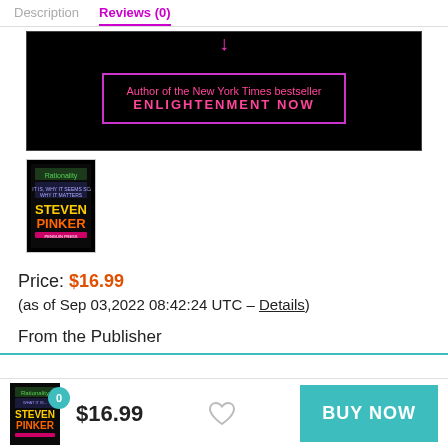Description   Reviews (0)
[Figure (photo): Book cover banner with pink neon text on black background: 'Author of the New York Times bestseller ENLIGHTENMENT NOW' inside a pink/magenta rectangle border, with a pink downward arrow above it.]
[Figure (photo): Small thumbnail of the book cover: Rationality by Steven Pinker, dark background with yellow and orange text.]
Price: $16.99
(as of Sep 03,2022 08:42:24 UTC – Details)
From the Publisher
[Figure (photo): Sticky bottom bar with small book thumbnail, badge showing 0, price $16.99, heart icon, and BUY NOW button in teal.]